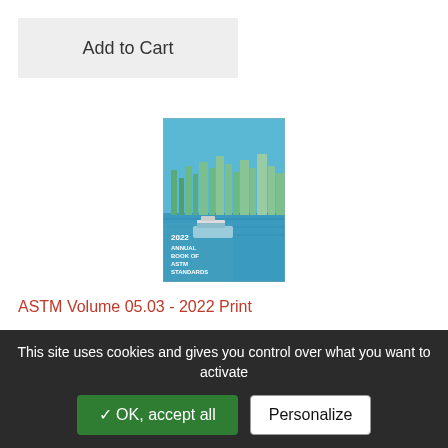Add to Cart
[Figure (illustration): Book cover for 2022 Annual Book of ASTM Standards, showing a waterfront city skyline with a ferry boat and blue water, with white text overlay.]
ASTM Volume 05.03 - 2022 Print
Petroleum Products, Liquid Fuels, and Lubricants (III): D6469 – D7398
3/1/2022 - Papier - English - ASTM
Learn More
This site uses cookies and gives you control over what you want to activate
✓ OK, accept all
Personalize